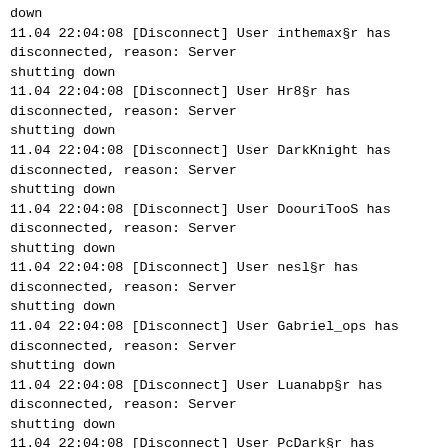down
11.04 22:04:08 [Disconnect] User inthemax§r has disconnected, reason: Server shutting down
11.04 22:04:08 [Disconnect] User Hr8§r has disconnected, reason: Server shutting down
11.04 22:04:08 [Disconnect] User DarkKnight has disconnected, reason: Server shutting down
11.04 22:04:08 [Disconnect] User DoouriTooS has disconnected, reason: Server shutting down
11.04 22:04:08 [Disconnect] User nesl§r has disconnected, reason: Server shutting down
11.04 22:04:08 [Disconnect] User Gabriel_ops has disconnected, reason: Server shutting down
11.04 22:04:08 [Disconnect] User Luanabp§r has disconnected, reason: Server shutting down
11.04 22:04:08 [Disconnect] User PcDark§r has disconnected, reason: Server shutting down
11.04 22:04:08 [Disconnect] User MaxprameGames has disconnected, reason: Server shutting down
11.04 22:04:08 [Disconnect] User Extermition§r has disconnected, reason: Server